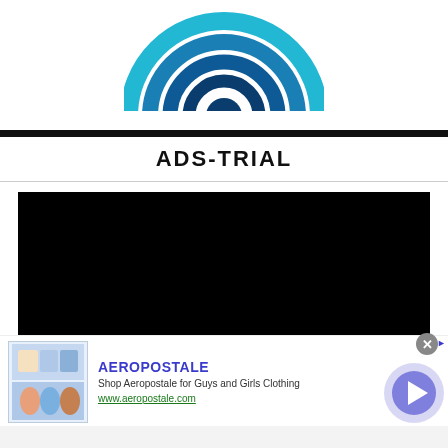[Figure (logo): Circular concentric logo with blue tones (teal, cyan, dark blue) forming a target/bullseye pattern, partially visible at top of page]
ADS-TRIAL
[Figure (screenshot): Black video player area]
[Figure (screenshot): Advertisement banner for Aeropostale showing clothing images, brand name, description 'Shop Aeropostale for Guys and Girls Clothing', URL www.aeropostale.com, with close button and navigation arrow]